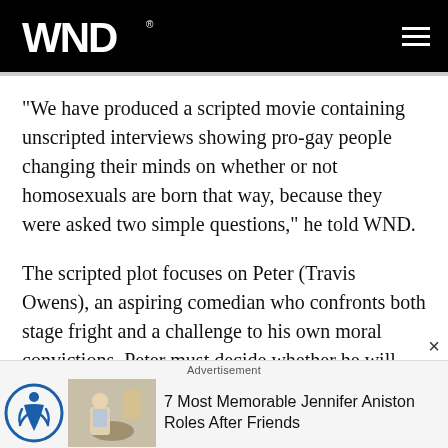WND
"We have produced a scripted movie containing unscripted interviews showing pro-gay people changing their minds on whether or not homosexuals are born that way, because they were asked two simple questions," he told WND.
The scripted plot focuses on Peter (Travis Owens), an aspiring comedian who confronts both stage fright and a challenge to his own moral convictions. Peter must decide whether he will stand up for what he believes, even if it means losing a friendship. More than that, he
Advertisement
7 Most Memorable Jennifer Aniston Roles After Friends